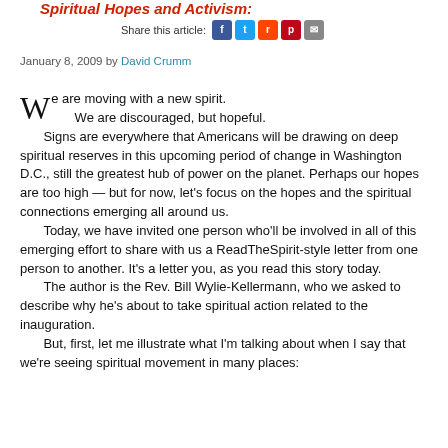Spiritual Hopes and Activism:
Share this article:
January 8, 2009 by David Crumm
We are moving with a new spirit.
    We are discouraged, but hopeful.
    Signs are everywhere that Americans will be drawing on deep spiritual reserves in this upcoming period of change in Washington D.C., still the greatest hub of power on the planet. Perhaps our hopes are too high — but for now, let's focus on the hopes and the spiritual connections emerging all around us.
    Today, we have invited one person who'll be involved in all of this emerging effort to share with us a ReadTheSpirit-style letter from one person to another. It's a letter you, as you read this story today.
    The author is the Rev. Bill Wylie-Kellermann, who we asked to describe why he's about to take spiritual action related to the inauguration.
    But, first, let me illustrate what I'm talking about when I say that we're seeing spiritual movement in many places: